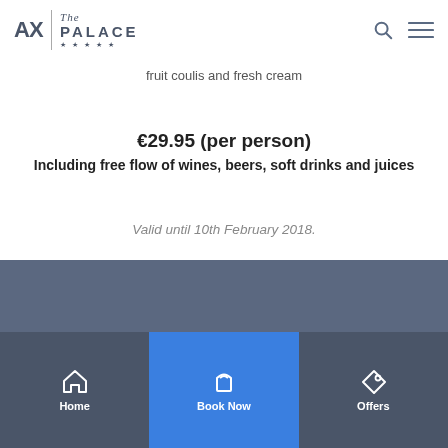AX | The Palace
fruit coulis and fresh cream
€29.95 (per person)
Including free flow of wines, beers, soft drinks and juices
Valid until 10th February 2018.
Home | Book Now | Offers